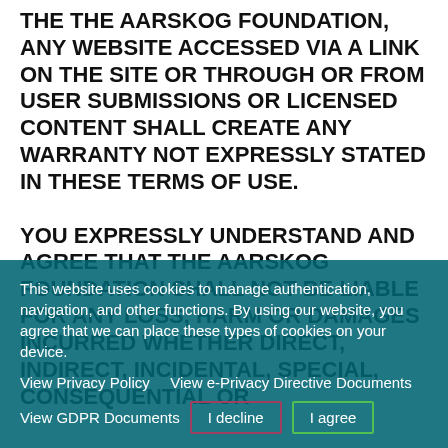THE THE AARSKOG FOUNDATION, ANY WEBSITE ACCESSED VIA A LINK ON THE SITE OR THROUGH OR FROM USER SUBMISSIONS OR LICENSED CONTENT SHALL CREATE ANY WARRANTY NOT EXPRESSLY STATED IN THESE TERMS OF USE.

YOU EXPRESSLY UNDERSTAND AND AGREE THAT THE AARSKOG FOUNDATION SHALL NOT BE LIABLE FOR ANY LOSS, HARM OR DAMAGES INCURRED WHETHER DIRECT, INDIRECT, INCIDENTAL, SPECIAL, CONSEQUENTIAL OR...
This website uses cookies to manage authentication, navigation, and other functions. By using our website, you agree that we can place these types of cookies on your device.
View Privacy Policy   View e-Privacy Directive Documents
View GDPR Documents
I decline
I agree